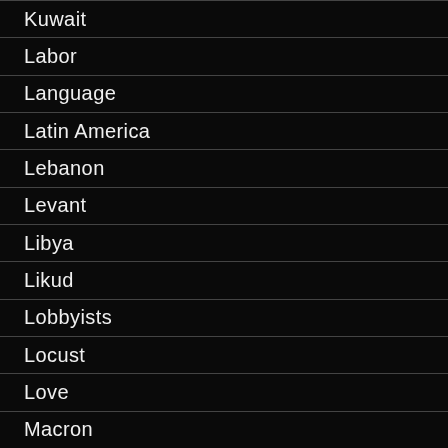Kuwait
Labor
Language
Latin America
Lebanon
Levant
Libya
Likud
Lobbyists
Locust
Love
Macron